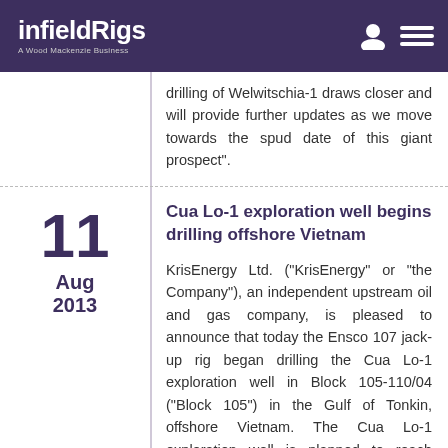infieldRigs — A Wood Mackenzie Business
drilling of Welwitschia-1 draws closer and will provide further updates as we move towards the spud date of this giant prospect".
Cua Lo-1 exploration well begins drilling offshore Vietnam
KrisEnergy Ltd. (“KrisEnergy” or “the Company”), an independent upstream oil and gas company, is pleased to announce that today the Ensco 107 jack-up rig began drilling the Cua Lo-1 exploration well in Block 105-110/04 (“Block 105”) in the Gulf of Tonkin, offshore Vietnam. The Cua Lo-1 exploration well is planned to reach approximately -2,800 metres total vertical depth subsea and is intended to test the Cua Lo gas prospect. It is anticipated that drilling will last approximately 42 days. “Cua Lo-1 is the first of two high impact exploration wells offshore Vietnam for us this year and we are excited to be finally drilling this attractive and large prospect. It is important to